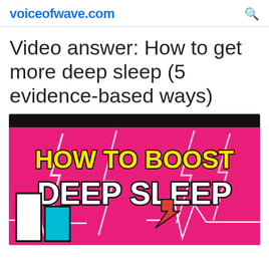voiceofwave.com
Video answer: How to get more deep sleep (5 evidence-based ways)
[Figure (screenshot): Video thumbnail with hot pink background, black bar at top, bold yellow text 'HOW TO BOOST' and white text 'DEEP SLEEP', with white lightning bolt graphics, teal and white bar chart graphic at bottom left, and red downward arrow at bottom center-right]